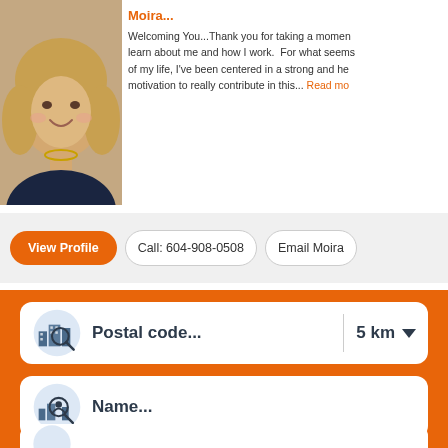[Figure (photo): Profile photo of a woman with curly blonde hair wearing a dark top and necklace]
Welcoming You...Thank you for taking a moment to learn about me and how I work. For what seems like most of my life, I've been centered in a strong and healthy motivation to really contribute in this... Read more
View Profile
Call: 604-908-0508
Email Moira
[Figure (illustration): City buildings with magnifying glass search icon for postal code search]
Postal code...
5 km
[Figure (illustration): Person with magnifying glass search icon for name search]
Name...